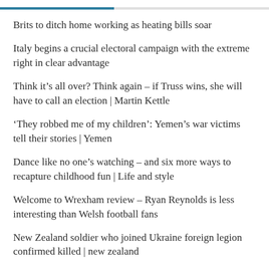Brits to ditch home working as heating bills soar
Italy begins a crucial electoral campaign with the extreme right in clear advantage
Think it’s all over? Think again – if Truss wins, she will have to call an election | Martin Kettle
‘They robbed me of my children’: Yemen’s war victims tell their stories | Yemen
Dance like no one’s watching – and six more ways to recapture childhood fun | Life and style
Welcome to Wrexham review – Ryan Reynolds is less interesting than Welsh football fans
New Zealand soldier who joined Ukraine foreign legion confirmed killed | new zealand
Investigation Reveals Large-Scale Pro-Western